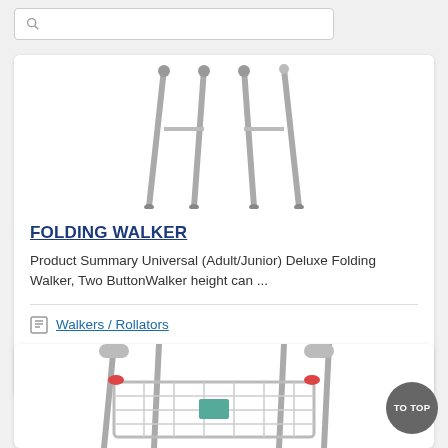[Figure (screenshot): Search bar with magnifying glass icon at top of page]
[Figure (photo): Folding walker product image showing metal legs on white background]
FOLDING WALKER
Product Summary Universal (Adult/Junior) Deluxe Folding Walker, Two ButtonWalker height can ...
Walkers / Rollators
Drive
[Figure (photo): Folding walker with basket/rollator product image, partially visible at bottom of page]
TO TOP